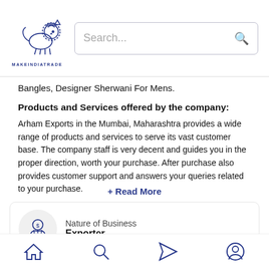[Figure (logo): MakeInIndiaTrade lion logo with text MAKEINDIATRADE below]
Bangles, Designer Sherwani For Mens.
Products and Services offered by the company:
Arham Exports in the Mumbai, Maharashtra provides a wide range of products and services to serve its vast customer base. The company staff is very decent and guides you in the proper direction, worth your purchase. After purchase also provides customer support and answers your queries related to your purchase.
+ Read More
Nature of Business
Exporter
[Figure (illustration): Bottom navigation bar with home, search, send, and profile icons]